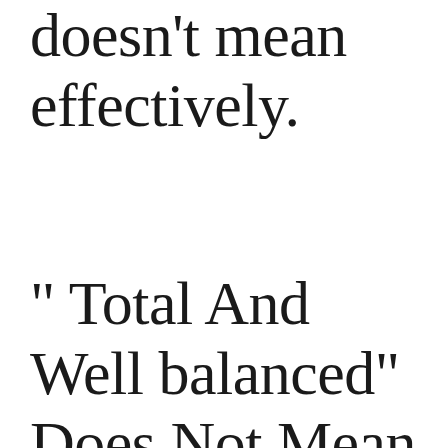doesn't mean effectively.
“ Total And Well balanced” Does Not Mean “Optimum”